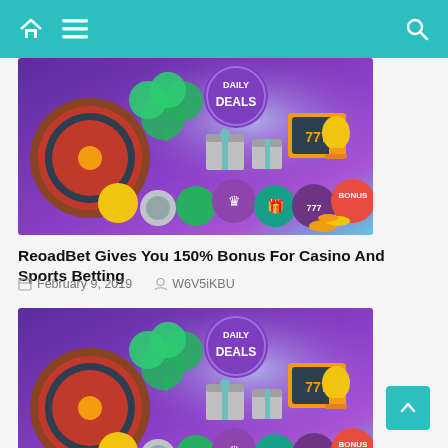Navigation bar with home, menu, and search icons
[Figure (photo): Casino promotional image showing roulette wheel, lucky clover, slot machine 777, trophy, gift boxes, bonus tokens, and coins on purple background with 'Daily Deals' badge]
ReoadBet Gives You 150% Bonus For Casino And Sports Betting
February 9, 2019   W6V5iKBU
[Figure (photo): Casino promotional image showing roulette wheel, lucky clover, slot machine 777, trophy, gift boxes, bonus tokens, and coins on purple background with 'Daily Deals' badge]
Please Join To Letsbet24 Casino And You Will Get 25 Free Spins No